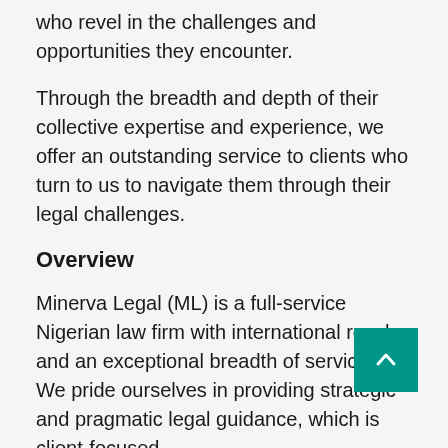who revel in the challenges and opportunities they encounter.
Through the breadth and depth of their collective expertise and experience, we offer an outstanding service to clients who turn to us to navigate them through their legal challenges.
Overview
Minerva Legal (ML) is a full-service Nigerian law firm with international reach and an exceptional breadth of services.  We pride ourselves in providing strategic and pragmatic legal guidance, which is client-focused.
ML is a modern law firm with traditional values, strategy and approach; and this has led to a